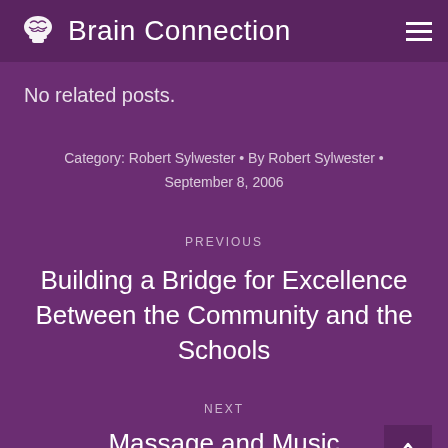Brain Connection
No related posts.
Category: Robert Sylwester • By Robert Sylwester • September 8, 2006
PREVIOUS
Building a Bridge for Excellence Between the Community and the Schools
NEXT
Massage and Music